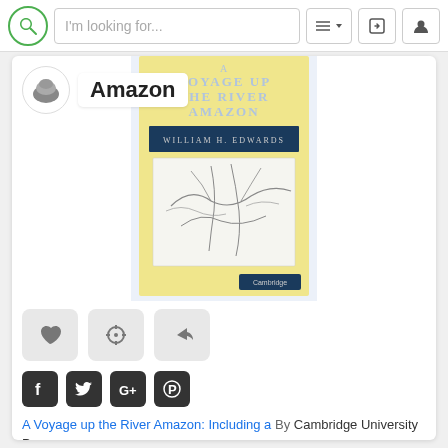I'm looking for...
Amazon
[Figure (illustration): Book cover: A Voyage up the River Amazon by William H. Edwards, Cambridge University Press. Yellow cover with blue title banner and map illustration.]
[Figure (other): Three action buttons: heart/favorite, crosshair/compare, share arrow]
[Figure (other): Social media icons: Facebook, Twitter, Google+, Pinterest]
A Voyage up the River Amazon: Including a By Cambridge University Press
★★☆☆☆  $29.09  eCampus.com  3 Sellers
♥ 0  ✉ 0  👁 0